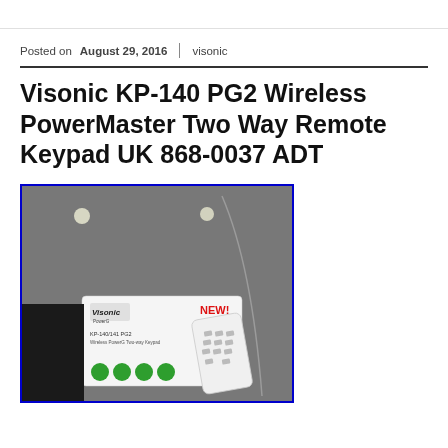Posted on August 29, 2016 | visonic
Visonic KP-140 PG2 Wireless PowerMaster Two Way Remote Keypad UK 868-0037 ADT
[Figure (photo): Photo of Visonic KP-140/141 PG2 Wireless PowerG Two-way Keypad product box with a small white remote keypad beside it, displayed on a grey surface. The box shows the Visonic PowerG logo and green icons at the bottom. A red 'NEW!' sticker is on the box.]